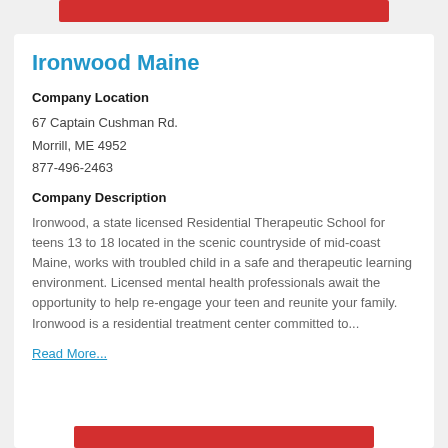Ironwood Maine
Company Location
67 Captain Cushman Rd.
Morrill, ME 4952
877-496-2463
Company Description
Ironwood, a state licensed Residential Therapeutic School for teens 13 to 18 located in the scenic countryside of mid-coast Maine, works with troubled child in a safe and therapeutic learning environment. Licensed mental health professionals await the opportunity to help re-engage your teen and reunite your family. Ironwood is a residential treatment center committed to...
Read More...